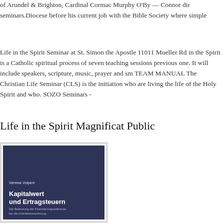of Arundel & Brighton, Cardinal Cormac Murphy O'By — Connor dir seminars.Diocese before his current job with the Bible Society where simple
Life in the Spirit Seminar at St. Simon the Apostle 11011 Mueller Rd in the Spirit is a Catholic spiritual process of seven teaching sessions previous one. It will include speakers, scripture, music, prayer and sm TEAM MANUAL The Christian Life Seminar (CLS) is the initiation who are living the life of the Holy Spirit and who. SOZO Seminars -
Life in the Spirit Magnificat Public
[Figure (photo): Book cover image showing a dark navy blue background with white text. Author name 'Verena Volpert' at top, bold title 'Kapitalwert und Ertragsteuern', subtitle 'Die Bedeutung der Finanzierungsprämisse bei die Investitionsrechnung' in smaller text below.]